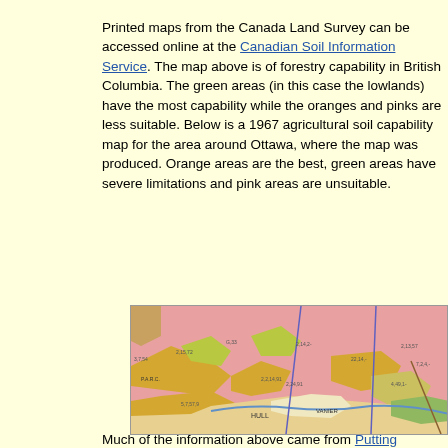Printed maps from the Canada Land Survey can be accessed online at the Canadian Soil Information Service. The map above is of forestry capability in British Columbia. The green areas (in this case the lowlands) have the most capability while the oranges and pinks are less suitable. Below is a 1967 agricultural soil capability map for the area around Ottawa, where the map was produced. Orange areas are the best, green areas have severe limitations and pink areas are unsuitable.
[Figure (map): 1967 agricultural soil capability map for the area around Ottawa. Shows areas in pink, orange/yellow, and green representing different soil capability classes. Contains place names including Hull and Vanier. Blue/purple grid lines overlay the map.]
Much of the information above came from Putting Canada on the Map by